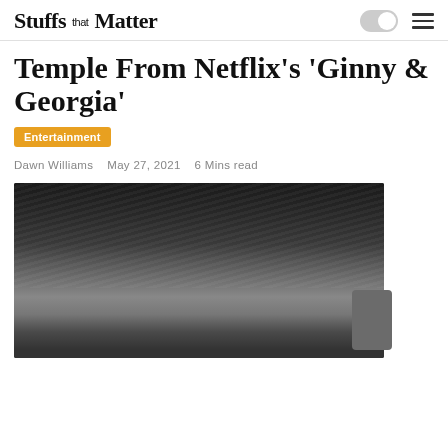Stuffs that Matter
Temple From Netflix's 'Ginny & Georgia'
Entertainment
Dawn Williams   May 27, 2021   6 Mins read
[Figure (photo): Black and white close-up photo of a person's face and styled dark hair against a dark background]